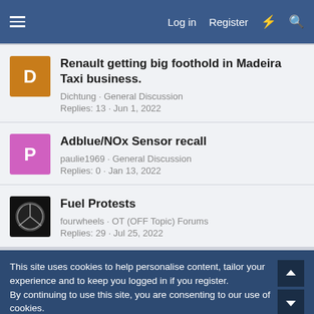Log in  Register
Renault getting big foothold in Madeira Taxi business.
Dichtung · General Discussion
Replies: 13 · Jun 1, 2022
Adblue/NOx Sensor recall
paulie1969 · General Discussion
Replies: 0 · Jan 13, 2022
Fuel Protests
fourwheels · OT (OFF Topic) Forums
Replies: 29 · Jul 25, 2022
This site uses cookies to help personalise content, tailor your experience and to keep you logged in if you register.
By continuing to use this site, you are consenting to our use of cookies.
Accept  Learn more...